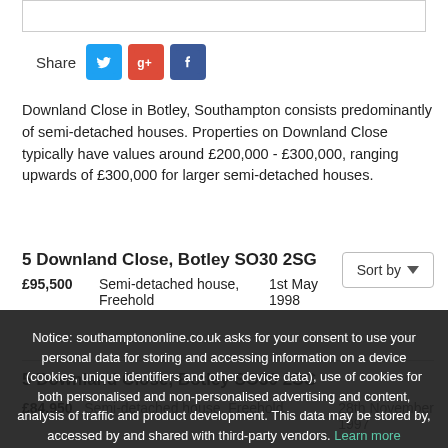[Figure (screenshot): Search bar input field at top of page]
Share [Twitter] [Google+] [Facebook]
Downland Close in Botley, Southampton consists predominantly of semi-detached houses. Properties on Downland Close typically have values around £200,000 - £300,000, ranging upwards of £300,000 for larger semi-detached houses.
5 Downland Close, Botley SO30 2SG
£95,500   Semi-detached house, Freehold   1st May 1998
5 Downland Close, Botley SO30 2SG
£84,950   Semi-detached house, Freehold   28th November 1997
£310,000   Semi-detached house, Freehold
7 Downland Close, Botley SO30 2SG
£59,950   Semi-detached house, Freehold   1st March 1996
Notice: southamptononline.co.uk asks for your consent to use your personal data for storing and accessing information on a device (cookies, unique identifiers and other device data), use of cookies for both personalised and non-personalised advertising and content, analysis of traffic and product development. This data may be stored by, accessed by and shared with third-party vendors. Learn more
OK